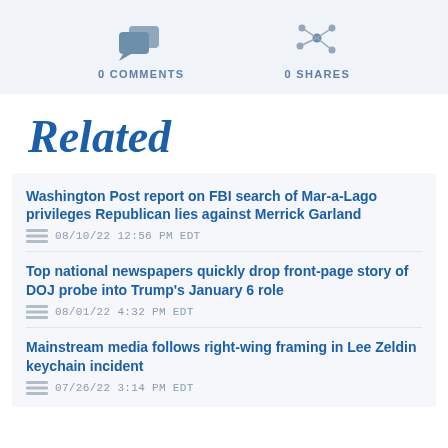[Figure (infographic): Comment bubble icon with count '0 COMMENTS']
[Figure (infographic): Network/share icon with count '0 SHARES']
Related
Washington Post report on FBI search of Mar-a-Lago privileges Republican lies against Merrick Garland
08/10/22 12:56 PM EDT
Top national newspapers quickly drop front-page story of DOJ probe into Trump's January 6 role
08/01/22 4:32 PM EDT
Mainstream media follows right-wing framing in Lee Zeldin keychain incident
07/26/22 3:14 PM EDT